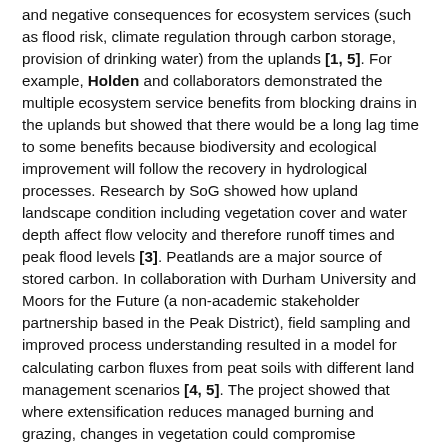and negative consequences for ecosystem services (such as flood risk, climate regulation through carbon storage, provision of drinking water) from the uplands [1, 5]. For example, Holden and collaborators demonstrated the multiple ecosystem service benefits from blocking drains in the uplands but showed that there would be a long lag time to some benefits because biodiversity and ecological improvement will follow the recovery in hydrological processes. Research by SoG showed how upland landscape condition including vegetation cover and water depth affect flow velocity and therefore runoff times and peak flood levels [3]. Peatlands are a major source of stored carbon. In collaboration with Durham University and Moors for the Future (a non-academic stakeholder partnership based in the Peak District), field sampling and improved process understanding resulted in a model for calculating carbon fluxes from peat soils with different land management scenarios [4, 5]. The project showed that where extensification reduces managed burning and grazing, changes in vegetation could compromise conservation species, provisioning services, amenity value and wildfire risk. However, where extensification results in damaged peatland restoration, there could be...